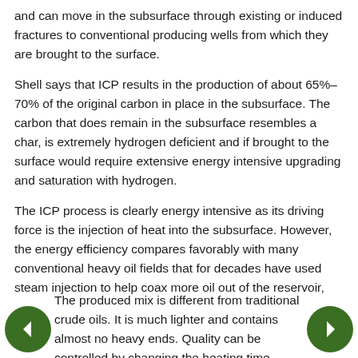and can move in the subsurface through existing or induced fractures to conventional producing wells from which they are brought to the surface.
Shell says that ICP results in the production of about 65%–70% of the original carbon in place in the subsurface. The carbon that does remain in the subsurface resembles a char, is extremely hydrogen deficient and if brought to the surface would require extensive energy intensive upgrading and saturation with hydrogen.
The ICP process is clearly energy intensive as its driving force is the injection of heat into the subsurface. However, the energy efficiency compares favorably with many conventional heavy oil fields that for decades have used steam injection to help coax more oil out of the reservoir, according to Shell.
The produced mix is different from traditional crude oils. It is much lighter and contains almost no heavy ends. Quality can be controlled by changing the heating time,